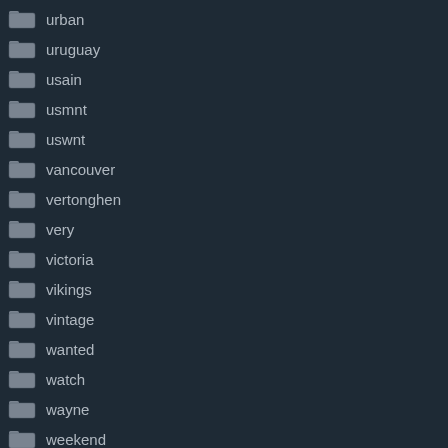urban
uruguay
usain
usmnt
uswnt
vancouver
vertonghen
very
victoria
vikings
vintage
wanted
watch
wayne
weekend
wembley
west
western